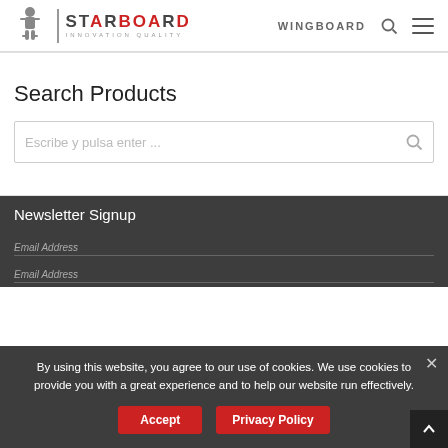[Figure (logo): Starboard logo with mascot figure, divider, and text 'STARBOARD INNOVATION QUALITY']
WINGBOARD
Search Products
Escribe y pulsa enter ...
Newsletter Signup
Email Address
Email Address
By using this website, you agree to our use of cookies. We use cookies to provide you with a great experience and to help our website run effectively.
Accept
Privacy Policy